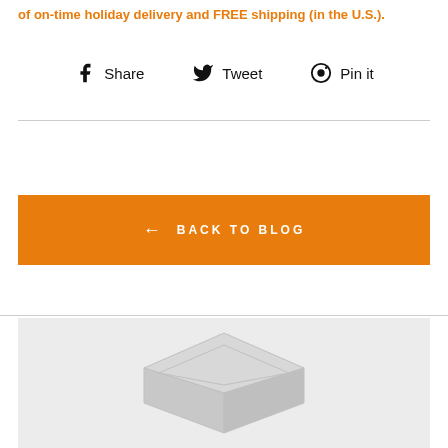of on-time holiday delivery and FREE shipping (in the U.S.).
Share  Tweet  Pin it
← BACK TO BLOG
[Figure (illustration): A light gray box / package illustration on a light gray background]